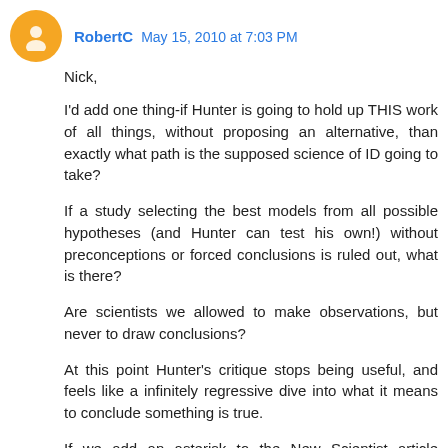RobertC May 15, 2010 at 7:03 PM
Nick,
I'd add one thing-if Hunter is going to hold up THIS work of all things, without proposing an alternative, than exactly what path is the supposed science of ID going to take?
If a study selecting the best models from all possible hypotheses (and Hunter can test his own!) without preconceptions or forced conclusions is ruled out, what is there?
Are scientists we allowed to make observations, but never to draw conclusions?
At this point Hunter's critique stops being useful, and feels like a infinitely regressive dive into what it means to conclude something is true.
If we add an asterisk to the New Scientist article defining what we mean by scientific truth and theory, and state that no, some possibilities (in this case, I guess a Creator